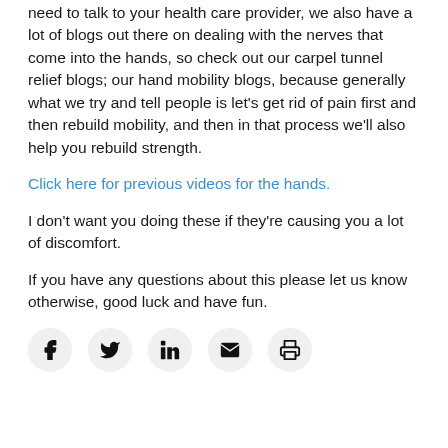need to talk to your health care provider, we also have a lot of blogs out there on dealing with the nerves that come into the hands, so check out our carpel tunnel relief blogs; our hand mobility blogs, because generally what we try and tell people is let's get rid of pain first and then rebuild mobility, and then in that process we'll also help you rebuild strength.
Click here for previous videos for the hands.
I don't want you doing these if they're causing you a lot of discomfort.
If you have any questions about this please let us know otherwise, good luck and have fun.
[Figure (other): Social media share icons row: Facebook, Twitter, LinkedIn, Email, Print]